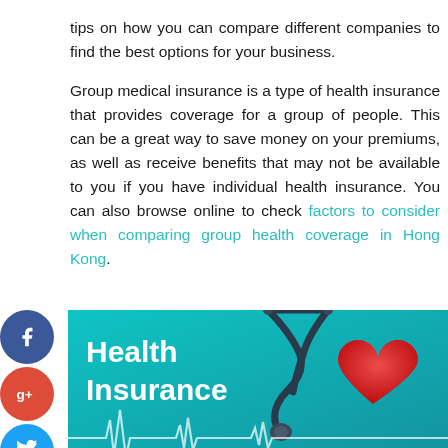tips on how you can compare different companies to find the best options for your business.
Group medical insurance is a type of health insurance that provides coverage for a group of people. This can be a great way to save money on your premiums, as well as receive benefits that may not be available to you if you have individual health insurance. You can also browse online to check factors to consider when comparing group health coverage in Hong Kong.
[Figure (photo): Health Insurance promotional image with teal background showing a red heart, stethoscope, and ECG line with 'Health Insurance' text overlay]